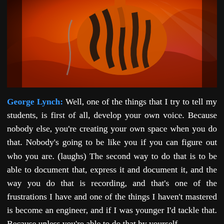[Figure (photo): A guitarist holding an orange and black tiger-striped electric guitar against a fiery orange/red background with smoke and dramatic lighting.]
George Lynch: Well, one of the things that I try to tell my students, is first of all, develop your own voice. Because nobody else, you're creating your own space when you do that. Nobody's going to be like you if you can figure out who you are. (laughs) The second way to do that is to be able to document that, express it and document it, and the way you do that is recording, and that's one of the frustrations I have and one of the things I haven't mastered is become an engineer, and if I was younger I'd tackle that. Because unless you're able to do that by yourself